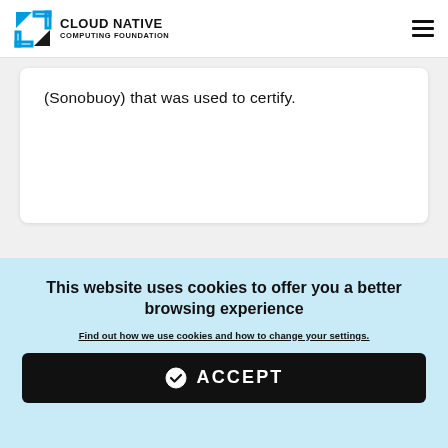CLOUD NATIVE COMPUTING FOUNDATION
(Sonobuoy) that was used to certify.
This website uses cookies to offer you a better browsing experience
Find out how we use cookies and how to change your settings.
ACCEPT